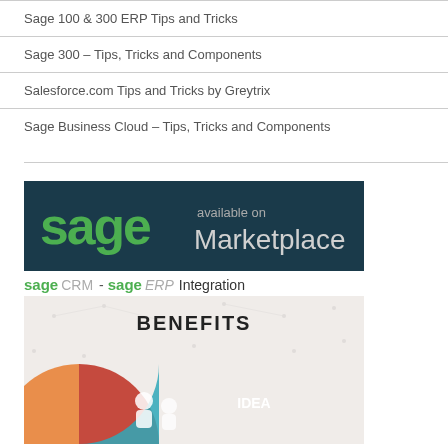Sage 100 & 300 ERP Tips and Tricks
Sage 300 – Tips, Tricks and Components
Salesforce.com Tips and Tricks by Greytrix
Sage Business Cloud – Tips, Tricks and Components
[Figure (logo): Sage 'available on Marketplace' banner with dark navy background, green Sage logo and grey text]
sage CRM - sage ERP Integration
[Figure (infographic): Benefits infographic showing colourful puzzle pieces (orange, red, teal) with people icons and 'IDEA' label]